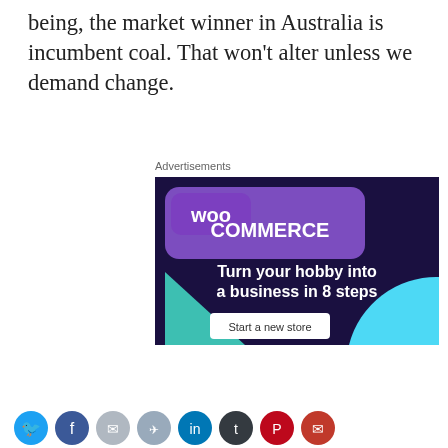being, the market winner in Australia is incumbent coal. That won't alter unless we demand change.
Advertisements
[Figure (illustration): WooCommerce advertisement banner with dark purple background, teal triangle shape, cyan quarter-circle, and text 'Turn your hobby into a business in 8 steps' with a 'Start a new store' button.]
Privacy & Cookies: This site uses cookies. By continuing to use this website, you agree to their use.
To find out more, including how to control cookies, see here: Cookie Policy
Close and accept